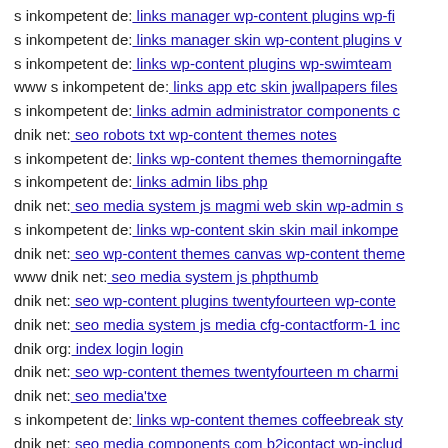s inkompetent de: links manager wp-content plugins wp-fi
s inkompetent de: links manager skin wp-content plugins v
s inkompetent de: links wp-content plugins wp-swimteam
www s inkompetent de: links app etc skin jwallpapers files
s inkompetent de: links admin administrator components c
dnik net: seo robots txt wp-content themes notes
s inkompetent de: links wp-content themes themorningafte
s inkompetent de: links admin libs php
dnik net: seo media system js magmi web skin wp-admin s
s inkompetent de: links wp-content skin skin mail inkompe
dnik net: seo wp-content themes canvas wp-content theme
www dnik net: seo media system js phpthumb
dnik net: seo wp-content plugins twentyfourteen wp-conte
dnik net: seo media system js media cfg-contactform-1 inc
dnik org: index login login
dnik net: seo wp-content themes twentyfourteen m charmi
dnik net: seo media'txe
s inkompetent de: links wp-content themes coffeebreak sty
dnik net: seo media components com b2jcontact wp-includ
dnik org: index assets vendor htt1644238626